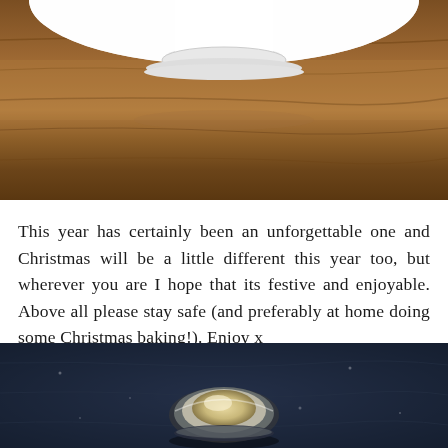[Figure (photo): Top portion of a white cake stand or pedestal dish on a warm brown wooden surface, photographed from a slightly elevated angle.]
This year has certainly been an unforgettable one and Christmas will be a little different this year too, but wherever you are I hope that its festive and enjoyable. Above all please stay safe (and preferably at home doing some Christmas baking!). Enjoy x
[Figure (photo): A small glass bowl containing a pale cream or butter-colored substance, sitting on a dark navy/indigo textured fabric surface, viewed from above.]